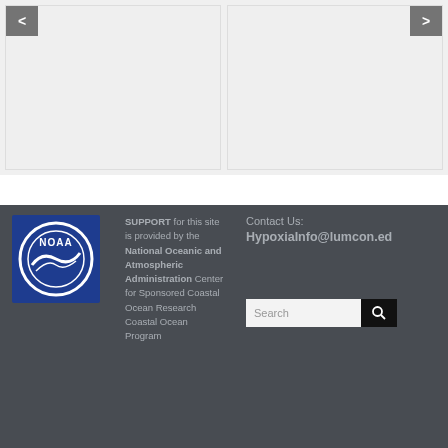[Figure (screenshot): Two carousel image placeholder boxes with left and right navigation arrows, light gray backgrounds]
[Figure (logo): NOAA logo — circular white emblem on dark blue square background]
SUPPORT for this site is provided by the National Oceanic and Atmospheric Administration Center for Sponsored Coastal Ocean Research Coastal Ocean Program
Contact Us:
HypoxiaInfo@lumcon.ed
Search